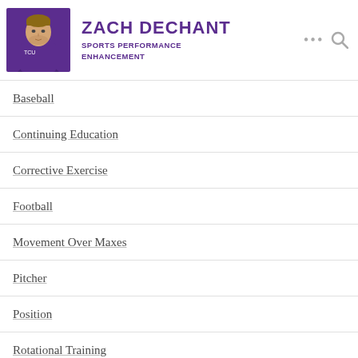[Figure (logo): Zach Dechant website header with photo and logo — purple TCU jacket man photo on left, name ZACH DECHANT in bold purple uppercase, subtitle SPORTS PERFORMANCE ENHANCEMENT in purple, three-dot menu and search icon on right]
Baseball
Continuing Education
Corrective Exercise
Football
Movement Over Maxes
Pitcher
Position
Rotational Training